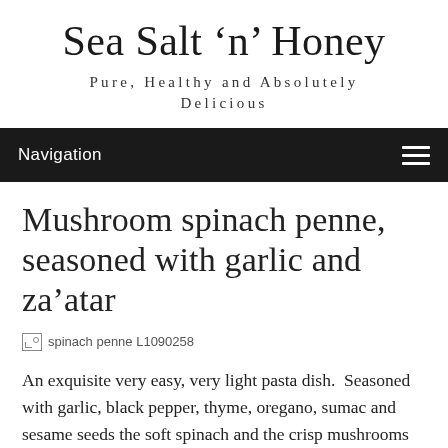Sea Salt 'n' Honey
Pure, Healthy and Absolutely Delicious
Navigation
Mushroom spinach penne, seasoned with garlic and za’atar
[Figure (photo): Broken image placeholder with alt text: spinach penne L1090258]
An exquisite very easy, very light pasta dish.  Seasoned with garlic, black pepper, thyme, oregano, sumac and sesame seeds the soft spinach and the crisp mushrooms